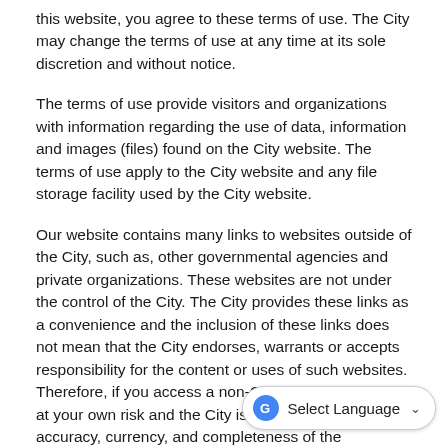this website, you agree to these terms of use. The City may change the terms of use at any time at its sole discretion and without notice.
The terms of use provide visitors and organizations with information regarding the use of data, information and images (files) found on the City website. The terms of use apply to the City website and any file storage facility used by the City website.
Our website contains many links to websites outside of the City, such as, other governmental agencies and private organizations. These websites are not under the control of the City. The City provides these links as a convenience and the inclusion of these links does not mean that the City endorses, warrants or accepts responsibility for the content or uses of such websites. Therefore, if you access a non-City website, you do so at your own risk and the City is not responsible for the accuracy, currency, and completeness of the information or reliability of ser... websites. Once you have linked to an... you are subject to their privacy policy and how they obtain